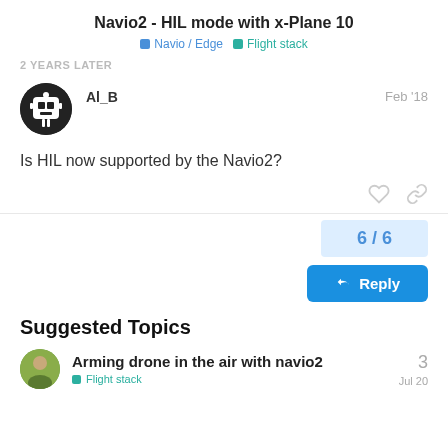Navio2 - HIL mode with x-Plane 10
Navio / Edge   Flight stack
2 YEARS LATER
Al_B   Feb '18
Is HIL now supported by the Navio2?
6 / 6
Reply
Suggested Topics
Arming drone in the air with navio2
Flight stack   Jul 20   3